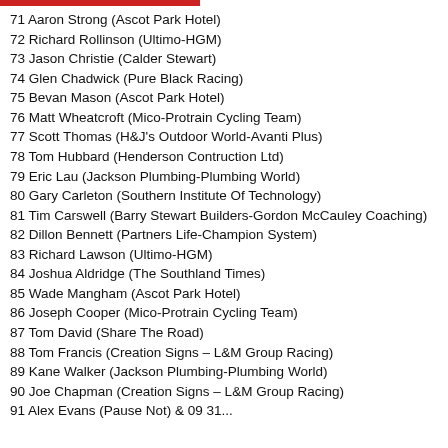71 Aaron Strong (Ascot Park Hotel)
72 Richard Rollinson (Ultimo-HGM)
73 Jason Christie (Calder Stewart)
74 Glen Chadwick (Pure Black Racing)
75 Bevan Mason (Ascot Park Hotel)
76 Matt Wheatcroft (Mico-Protrain Cycling Team)
77 Scott Thomas (H&J's Outdoor World-Avanti Plus)
78 Tom Hubbard (Henderson Contruction Ltd)
79 Eric Lau (Jackson Plumbing-Plumbing World)
80 Gary Carleton (Southern Institute Of Technology)
81 Tim Carswell (Barry Stewart Builders-Gordon McCauley Coaching)
82 Dillon Bennett (Partners Life-Champion System)
83 Richard Lawson (Ultimo-HGM)
84 Joshua Aldridge (The Southland Times)
85 Wade Mangham (Ascot Park Hotel)
86 Joseph Cooper (Mico-Protrain Cycling Team)
87 Tom David (Share The Road)
88 Tom Francis (Creation Signs – L&M Group Racing)
89 Kane Walker (Jackson Plumbing-Plumbing World)
90 Joe Chapman (Creation Signs – L&M Group Racing)
91 Alex Evans (Pause Not) & 09 31...